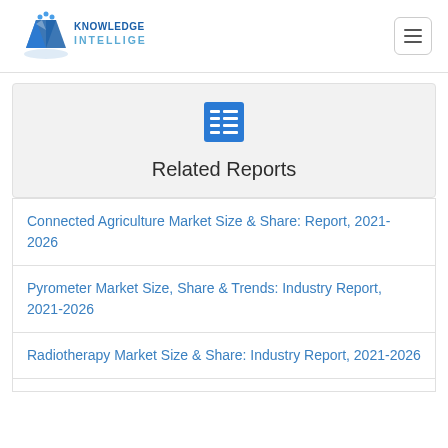[Figure (logo): Knowledge Sourcing Intelligence logo with blue crystal/diamond icon and text]
Related Reports
Connected Agriculture Market Size & Share: Report, 2021-2026
Pyrometer Market Size, Share & Trends: Industry Report, 2021-2026
Radiotherapy Market Size & Share: Industry Report, 2021-2026